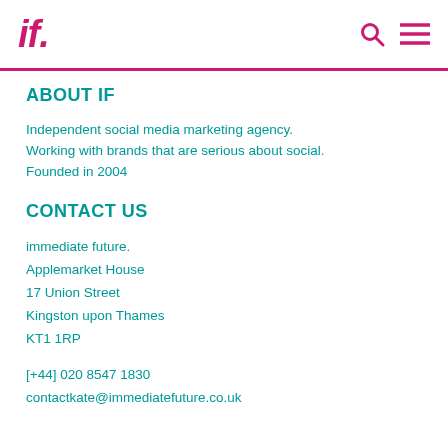if.
ABOUT IF
Independent social media marketing agency. Working with brands that are serious about social. Founded in 2004
CONTACT US
immediate future.
Applemarket House
17 Union Street
Kingston upon Thames
KT1 1RP
[+44] 020 8547 1830
contactkate@immediatefuture.co.uk